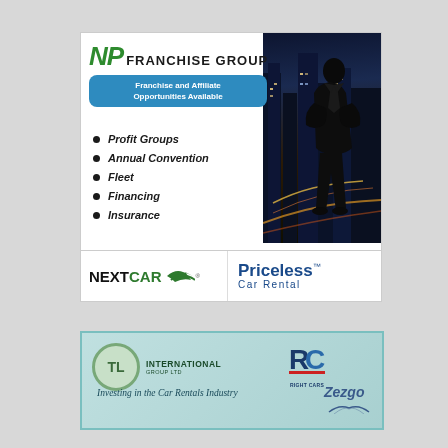[Figure (advertisement): NP Franchise Group advertisement featuring NextCar and Priceless Car Rental brands. Shows a silhouette of businessman against city skyline at night. Lists bullet points: Profit Groups, Annual Convention, Fleet, Financing, Insurance. Blue ribbon reads 'Franchise and Affiliate Opportunities Available'.]
[Figure (advertisement): TL International Group Ltd advertisement with Right Cars and Zezgo logos on teal/mint background. Tagline: 'Investing in the Car Rentals Industry'.]